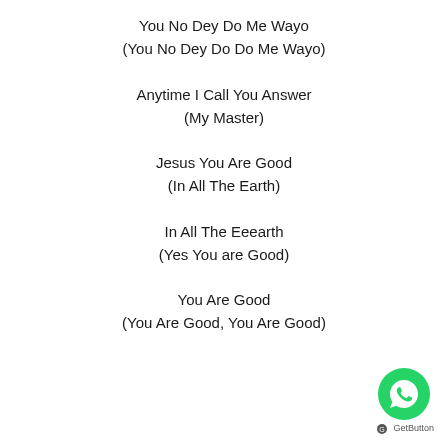You No Dey Do Me Wayo
(You No Dey Do Do Me Wayo)
Anytime I Call You Answer
(My Master)
Jesus You Are Good
(In All The Earth)
In All The Eeearth
(Yes You are Good)
You Are Good
(You Are Good, You Are Good)
[Figure (logo): WhatsApp contact button (green circle with phone/chat icon) and GetButton label]